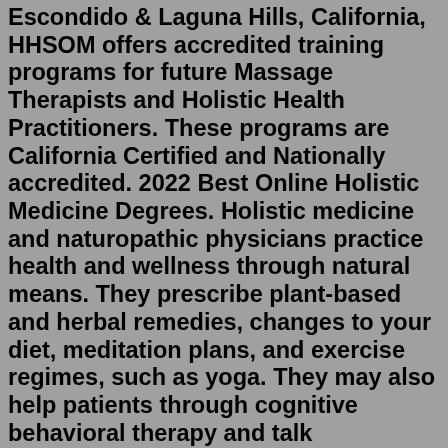Escondido & Laguna Hills, California, HHSOM offers accredited training programs for future Massage Therapists and Holistic Health Practitioners. These programs are California Certified and Nationally accredited. 2022 Best Online Holistic Medicine Degrees. Holistic medicine and naturopathic physicians practice health and wellness through natural means. They prescribe plant-based and herbal remedies, changes to your diet, meditation plans, and exercise regimes, such as yoga. They may also help patients through cognitive behavioral therapy and talk therapy.Aug 09, 2022 · 4. Degree. It is ideal for getting the degree of a holistic health practitioner directly if the idea is to become such a professional only. However, to broaden the scope of work opportunities and improve a person's range, you may as well take a degree in the medical field, which notably does not cater to holistic health. Education and Training Requirements: Educational requirements for aspiring ayurvedic health practitioner professionals are dependent on their field